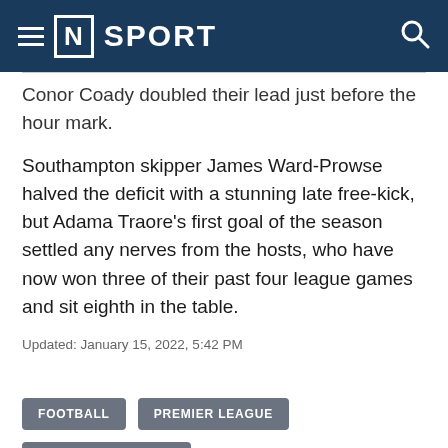[N] SPORT
Conor Coady doubled their lead just before the hour mark.
Southampton skipper James Ward-Prowse halved the deficit with a stunning late free-kick, but Adama Traore's first goal of the season settled any nerves from the hosts, who have now won three of their past four league games and sit eighth in the table.
Updated: January 15, 2022, 5:42 PM
FOOTBALL
PREMIER LEAGUE
NEWCASTLE UNITED